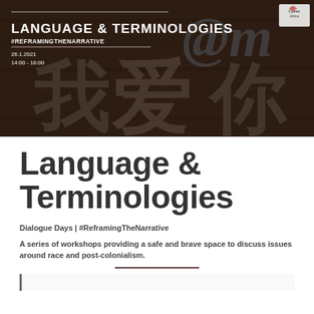[Figure (photo): Hero banner image showing wooden surface with Chinese graffiti characters and overlay text for Language & Terminologies event]
LANGUAGE & TERMINOLOGIES
#REFRAMINGTHENARRATIVE
26.1.2021
14:00 - 16:00
Language & Terminologies
Dialogue Days | #ReframingTheNarrative
A series of workshops providing a safe and brave space to discuss issues around race and post-colonialism.